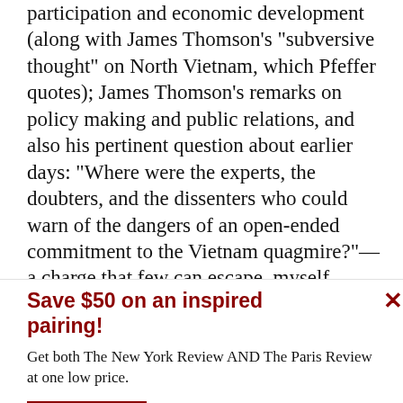participation and economic development (along with James Thomson's “subversive thought” on North Vietnam, which Pfeffer quotes); James Thomson’s remarks on policy making and public relations, and also his pertinent question about earlier days: “Where were the experts, the doubters, and the dissenters who could warn of the dangers of an open-ended commitment to the Vietnam quagmire?”—a charge that few can escape, myself
Save $50 on an inspired pairing!
Get both The New York Review AND The Paris Review at one low price.
See offer   Already a subscriber?  Sign in